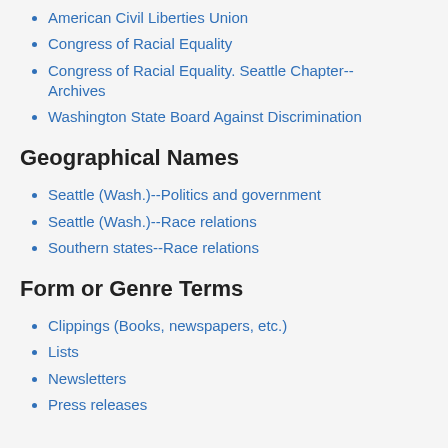American Civil Liberties Union
Congress of Racial Equality
Congress of Racial Equality. Seattle Chapter--Archives
Washington State Board Against Discrimination
Geographical Names
Seattle (Wash.)--Politics and government
Seattle (Wash.)--Race relations
Southern states--Race relations
Form or Genre Terms
Clippings (Books, newspapers, etc.)
Lists
Newsletters
Press releases